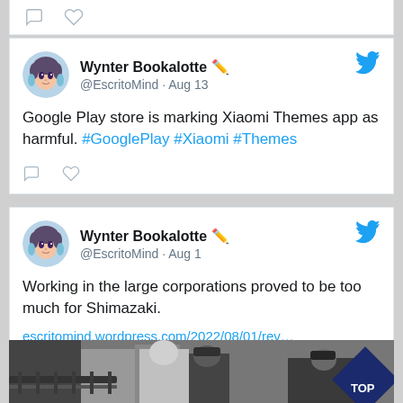[Figure (screenshot): Partial tweet card at top showing comment and like icons from a previous tweet]
[Figure (screenshot): Tweet by Wynter Bookalotte @EscritoMind Aug 13: Google Play store is marking Xiaomi Themes app as harmful. #GooglePlay #Xiaomi #Themes]
[Figure (screenshot): Tweet by Wynter Bookalotte @EscritoMind Aug 1: Working in the large corporations proved to be too much for Shimazaki. escritomind.wordpress.com/2022/08/01/rev...]
[Figure (photo): Black and white photo of police officers standing on a street with metal barricades, with a diamond-shaped TOP button in lower right corner]